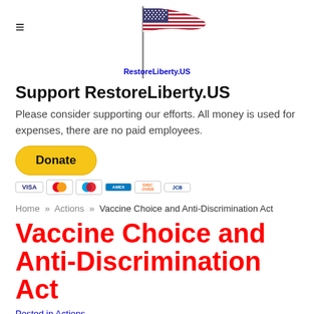[Figure (illustration): American flag waving on a pole, logo image for RestoreLiberty.US website]
RestoreLiberty.US
Support RestoreLiberty.US
Please consider supporting our efforts. All money is used for expenses, there are no paid employees.
[Figure (other): PayPal Donate button in yellow/gold color]
[Figure (other): Payment card icons: Visa, Mastercard, Maestro, American Express, Discover, JCB]
Home » Actions » Vaccine Choice and Anti-Discrimination Act
Vaccine Choice and Anti-Discrimination Act
Posted in Actions.
The Ohio GOP chooses